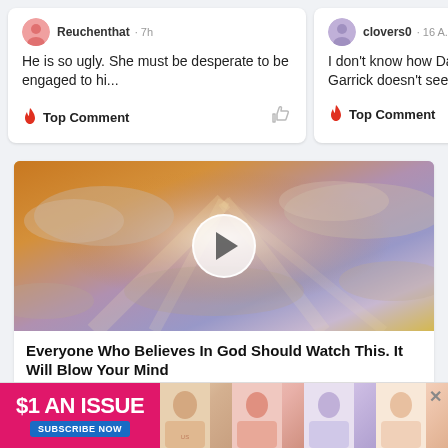He is so ugly. She must be desperate to be engaged to hi...
🔥 Top Comment
I don't know how Dann it! Garrick doesn't see...
🔥 Top Comment
[Figure (photo): Video thumbnail showing sunlight rays through dramatic golden clouds with a play button overlay]
Everyone Who Believes In God Should Watch This. It Will Blow Your Mind
[Figure (infographic): Advertisement banner: $1 AN ISSUE, US magazine subscription ad with Subscribe Now button and magazine cover images]